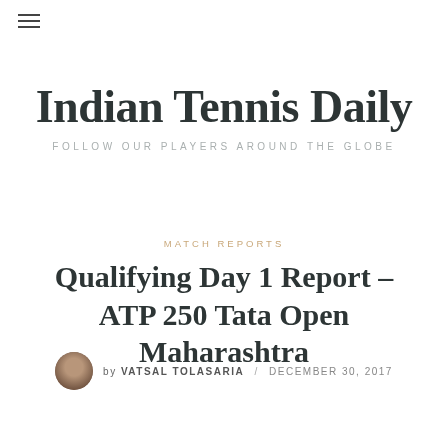Indian Tennis Daily — FOLLOW OUR PLAYERS AROUND THE GLOBE
MATCH REPORTS
Qualifying Day 1 Report – ATP 250 Tata Open Maharashtra
by VATSAL TOLASARIA / DECEMBER 30, 2017